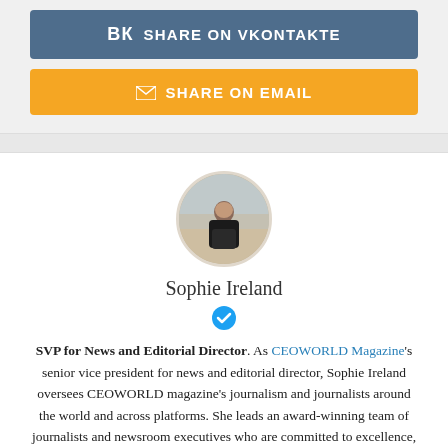[Figure (other): VKontakte share button - blue rounded rectangle with VK icon and text SHARE ON VKONTAKTE]
[Figure (other): Email share button - yellow/orange rounded rectangle with envelope icon and text SHARE ON EMAIL]
[Figure (photo): Circular profile photo of Sophie Ireland, a woman standing outdoors]
Sophie Ireland
[Figure (other): Blue verified checkmark badge]
SVP for News and Editorial Director. As CEOWORLD Magazine's senior vice president for news and editorial director, Sophie Ireland oversees CEOWORLD magazine's journalism and journalists around the world and across platforms. She leads an award-winning team of journalists and newsroom executives who are committed to excellence, innovation and the highest quality reporting and storytelling. Follow her on Twitter, Facebook, Instagram, or